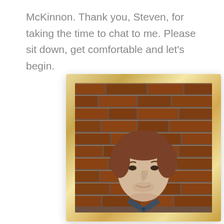McKinnon. Thank you, Steven, for taking the time to chat to me. Please sit down, get comfortable and let's begin.
[Figure (photo): A young man with short reddish-brown hair and light stubble, wearing a dark grey henley shirt, standing in front of a red brick wall. The photo is displayed inside a wooden picture frame with a warm golden-tan color.]